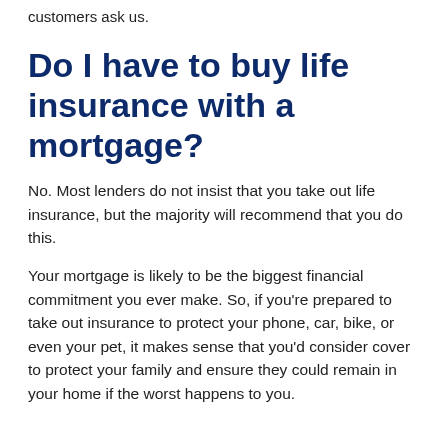customers ask us.
Do I have to buy life insurance with a mortgage?
No. Most lenders do not insist that you take out life insurance, but the majority will recommend that you do this.
Your mortgage is likely to be the biggest financial commitment you ever make. So, if you’re prepared to take out insurance to protect your phone, car, bike, or even your pet, it makes sense that you’d consider cover to protect your family and ensure they could remain in your home if the worst happens to you.